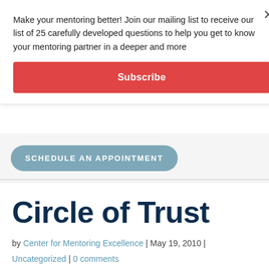Make your mentoring better! Join our mailing list to receive our list of 25 carefully developed questions to help you get to know your mentoring partner in a deeper and more
Subscribe
SCHEDULE AN APPOINTMENT
Circle of Trust
by Center for Mentoring Excellence | May 19, 2010 |
Uncategorized | 0 comments